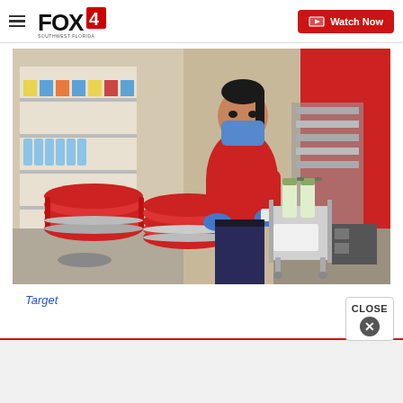FOX4 SOUTHWEST FLORIDA — Watch Now
[Figure (photo): A Target store employee wearing a red shirt, blue gloves, and a face mask sanitizing red shopping baskets. Multiple stacked red baskets are in the foreground, and cleaning supply bottles are visible on a small cart. Store shelves with products are visible in the background.]
Target
[Figure (other): CLOSE button overlay with X icon and an advertisement area below]
Advertisement area